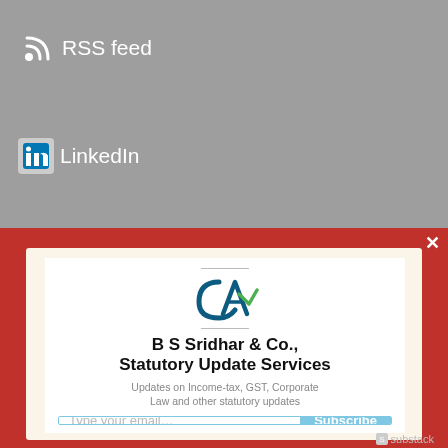[Figure (logo): RSS feed icon with wifi-style symbol and text 'RSS feed' in white on grey background]
[Figure (logo): LinkedIn 'in' logo icon with text 'LinkedIn' in white on grey background]
[Figure (logo): CA (Chartered Accountant) logo - stylized CA letters in blue and green]
B S Sridhar & Co., Statutory Update Services
Updates on Income-tax, GST, Corporate Law and other statutory updates
[Figure (screenshot): Email subscription form with 'Type your email...' placeholder and 'Subscribe' button in light blue]
substack